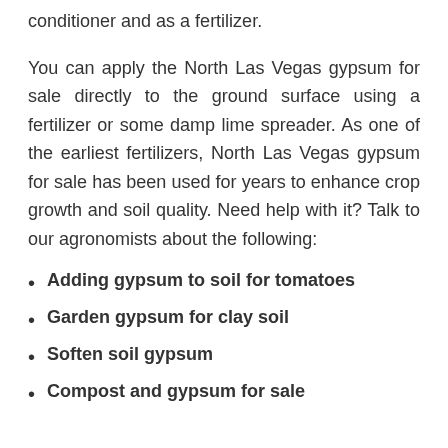conditioner and as a fertilizer.
You can apply the North Las Vegas gypsum for sale directly to the ground surface using a fertilizer or some damp lime spreader. As one of the earliest fertilizers, North Las Vegas gypsum for sale has been used for years to enhance crop growth and soil quality. Need help with it? Talk to our agronomists about the following:
Adding gypsum to soil for tomatoes
Garden gypsum for clay soil
Soften soil gypsum
Compost and gypsum for sale